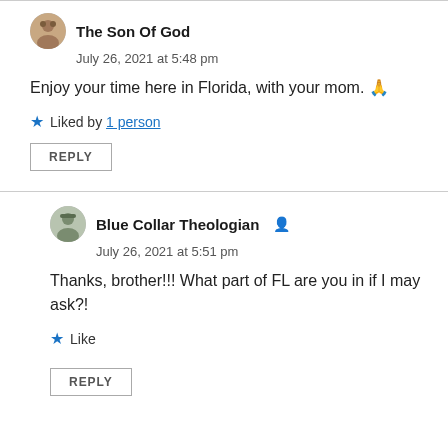The Son Of God
July 26, 2021 at 5:48 pm
Enjoy your time here in Florida, with your mom. 🙏
Liked by 1 person
REPLY
Blue Collar Theologian
July 26, 2021 at 5:51 pm
Thanks, brother!!! What part of FL are you in if I may ask?!
Like
REPLY